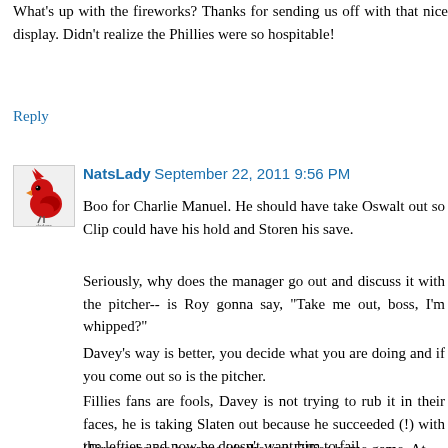What's up with the fireworks? Thanks for sending us off with that nice display. Didn't realize the Phillies were so hospitable!
Reply
NatsLady  September 22, 2011 9:56 PM
Boo for Charlie Manuel. He should have take Oswalt out so Clip could have his hold and Storen his save.
Seriously, why does the manager go out and discuss it with the pitcher-- is Roy gonna say, "Take me out, boss, I'm whipped?"
Davey's way is better, you decide what you are doing and if you come out so is the pitcher.
Fillies fans are fools, Davey is not trying to rub it in their faces, he is taking Slaten out because he succeeded (!) with the lefties and now he doesn't want him to fail.
(Fireworks are because it's the last Fillies home game. At